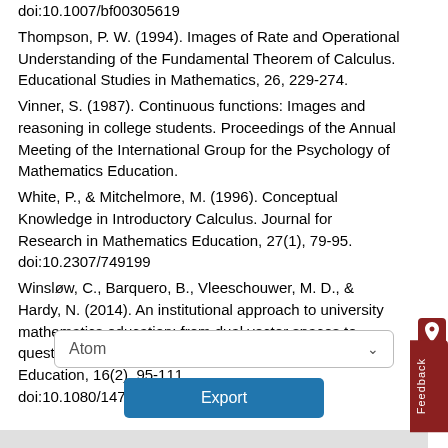doi:10.1007/bf00305619
Thompson, P. W. (1994). Images of Rate and Operational Understanding of the Fundamental Theorem of Calculus. Educational Studies in Mathematics, 26, 229-274.
Vinner, S. (1987). Continuous functions: Images and reasoning in college students. Proceedings of the Annual Meeting of the International Group for the Psychology of Mathematics Education.
White, P., & Mitchelmore, M. (1996). Conceptual Knowledge in Introductory Calculus. Journal for Research in Mathematics Education, 27(1), 79-95. doi:10.2307/749199
Winsløw, C., Barquero, B., Vleeschouwer, M. D., & Hardy, N. (2014). An institutional approach to university mathematics education: from dual vector spaces to questioning the world. Research in Mathematics Education, 16(2), 95-111. doi:10.1080/14794802.2014.918345